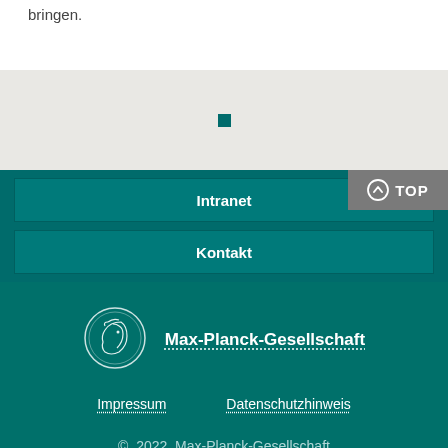bringen.
[Figure (other): Small dark green square decorative element]
Intranet
Kontakt
[Figure (logo): Max-Planck-Gesellschaft circular medallion logo with figure in profile]
Max-Planck-Gesellschaft
Impressum
Datenschutzhinweis
© 2022, Max-Planck-Gesellschaft